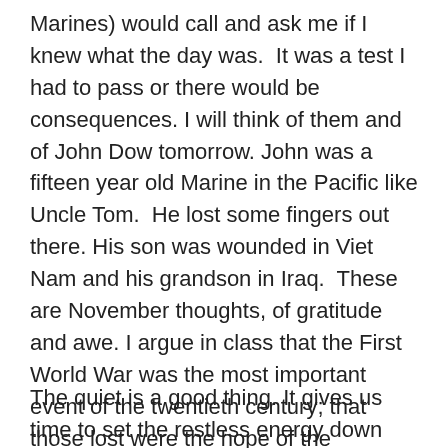Marines) would call and ask me if I knew what the day was.  It was a test I had to pass or there would be consequences. I will think of them and of John Dow tomorrow. John was a fifteen year old Marine in the Pacific like Uncle Tom.  He lost some fingers out there. His son was wounded in Viet Nam and his grandson in Iraq.  These are November thoughts, of gratitude and awe. I argue in class that the First World War was the most important event of the twentieth century; that those lost were the hope of the millenium, inspired to tinker with the world, to right wrongs, to offer imagination as antidote to misunderstanding. Small wonder we still mourn them on Veterans Day; Armistice Day for my grandfather who was there when it ended.
The quiet is a good thing. It gives us time to set the restless energy down and to think before the rush of